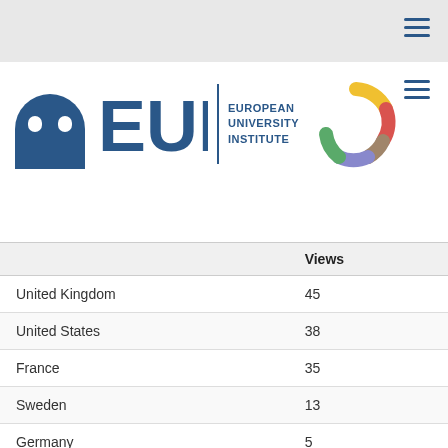[Figure (logo): European University Institute logo with EUI text and multicolored arc graphic]
|  | Views |
| --- | --- |
| United Kingdom | 45 |
| United States | 38 |
| France | 35 |
| Sweden | 13 |
| Germany | 5 |
| China | 3 |
| Russia | 3 |
| Switzerland | 1 |